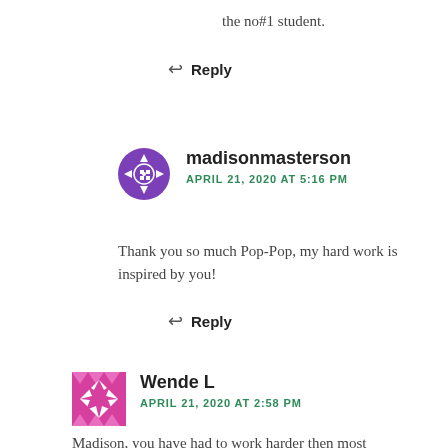the no#1 student.
↩ Reply
madisonmasterson
APRIL 21, 2020 AT 5:16 PM
Thank you so much Pop-Pop, my hard work is inspired by you!
↩ Reply
Wende L
APRIL 21, 2020 AT 2:58 PM
Madison, you have had to work harder then most